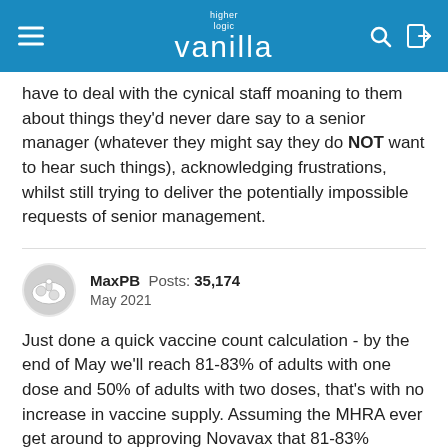higher logic vanilla
have to deal with the cynical staff moaning to them about things they'd never dare say to a senior manager (whatever they might say they do NOT want to hear such things), acknowledging frustrations, whilst still trying to deliver the potentially impossible requests of senior management.
MaxPB  Posts: 35,174
May 2021
Just done a quick vaccine count calculation - by the end of May we'll reach 81-83% of adults with one dose and 50% of adults with two doses, that's with no increase in vaccine supply. Assuming the MHRA ever get around to approving Novavax that 81-83% becomes more like 87-89% leaving just 7-8% needing first doses (around